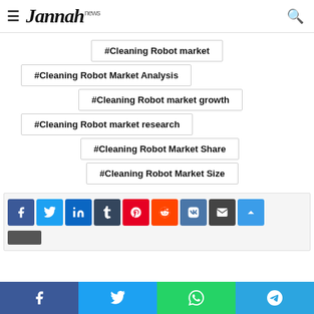Jannah news
#Cleaning Robot market
#Cleaning Robot Market Analysis
#Cleaning Robot market growth
#Cleaning Robot market research
#Cleaning Robot Market Share
#Cleaning Robot Market Size
[Figure (screenshot): Social share buttons: Facebook, Twitter, LinkedIn, Tumblr, Pinterest, Reddit, VK, Email, and scroll-up button]
Facebook | Twitter | WhatsApp | Telegram share bar